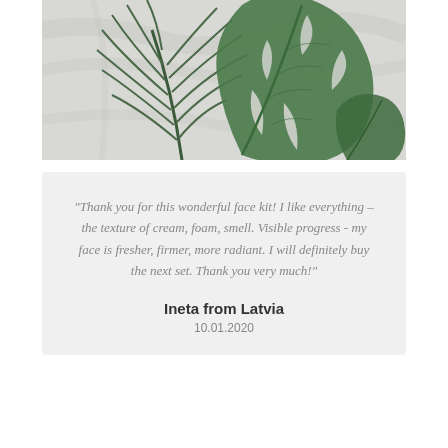[Figure (photo): Decorative tropical leaves (monstera and palm leaf) on a light grey marble background]
"Thank you for this wonderful face kit! I like everything – the texture of cream, foam, smell. Visible progress - my face is fresher, firmer, more radiant. I will definitely buy the next set. Thank you very much!"
Ineta from Latvia
10.01.2020